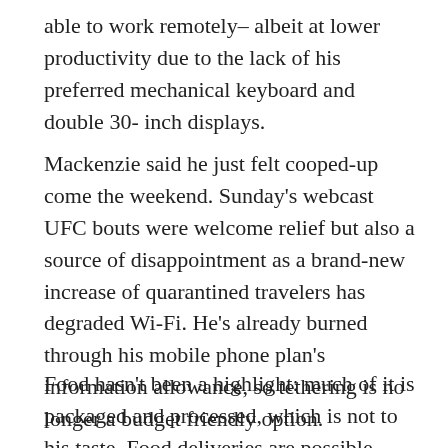able to work remotely– albeit at lower productivity due to the lack of his preferred mechanical keyboard and double 30- inch displays.
Mackenzie said he just felt cooped-up come the weekend. Sunday's webcast UFC bouts were welcome relief but also a source of disappointment as a brand-new increase of quarantined travelers has degraded Wi-Fi. He's already burned through his mobile phone plan's information allowance, so tethering is no longer a budget friendly option.
Food hasn't been a highlight: much of it is packaged and processed, which is not to his taste. Food deliveries are possible, however Mackenzie is conscious of his